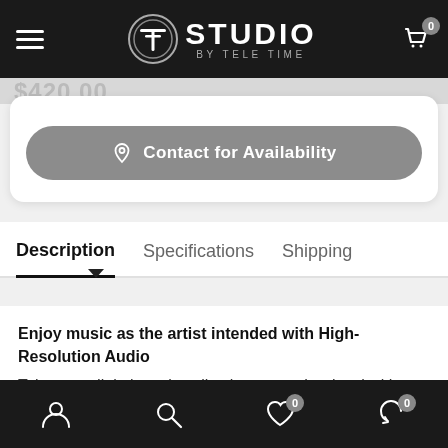STUDIO BY TELE TIME
[Figure (screenshot): Gray contact for availability button with shopping cart icon]
Description   Specifications   Shipping
Enjoy music as the artist intended with High-Resolution Audio
Take your digital music collection to another level with High-Resolution Audio. Representing music in high...
Bottom navigation bar with user, search, wishlist (0), and share (0) icons